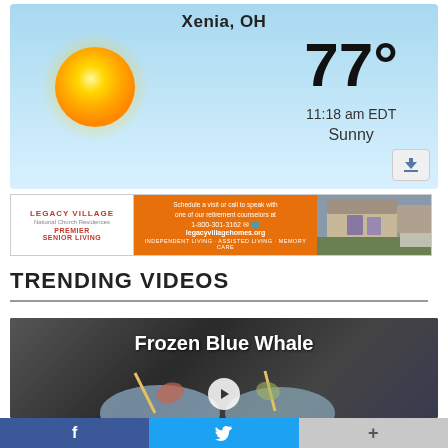[Figure (screenshot): Weather widget showing Xenia, OH at 77° Fahrenheit, 11:18 am EDT, Sunny, with a sun graphic on a blue sky background]
[Figure (screenshot): Legacy Village advertisement banner: Premier Senior Living - Independent Living, Assisted Living, Memory Care]
TRENDING VIDEOS
[Figure (screenshot): Video thumbnail for Frozen Blue Whale cocktail video showing drinks with straws on a dark background]
[Figure (screenshot): Social share bar with Facebook (f), Twitter bird, and plus (+) buttons]